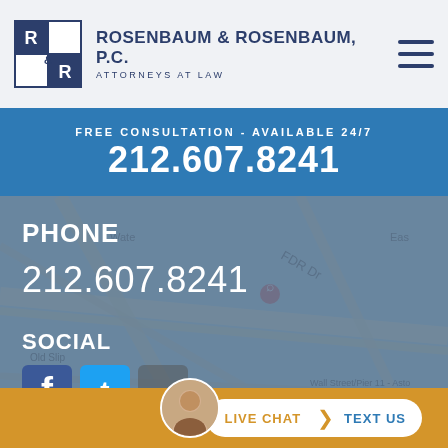[Figure (logo): Rosenbaum & Rosenbaum P.C. R&R logo in dark navy square]
ROSENBAUM & ROSENBAUM, P.C. ATTORNEYS AT LAW
FREE CONSULTATION - AVAILABLE 24/7
212.607.8241
[Figure (map): Google Maps view of Wall Street area, New York, showing FDR Drive, Old Slip, Wall St NY Ferry]
PHONE
212.607.8241
SOCIAL
[Figure (illustration): Social media icons: Facebook, and others partially visible]
[Figure (photo): Avatar photo of a woman used for live chat]
LIVE CHAT   TEXT US